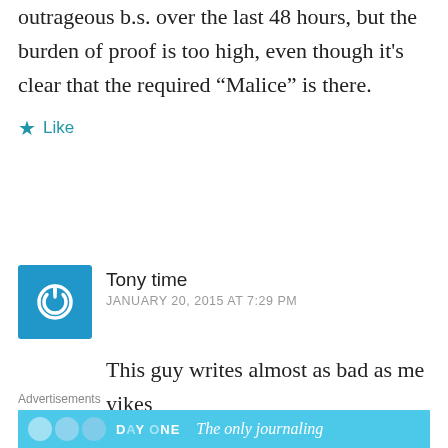outrageous b.s. over the last 48 hours, but the burden of proof is too high, even though it's clear that the required “Malice” is there.
Like
Tony time
JANUARY 20, 2015 AT 7:29 PM
This guy writes almost as bad as me
yikes
Like
Advertisements
DAY ONE   The only journaling